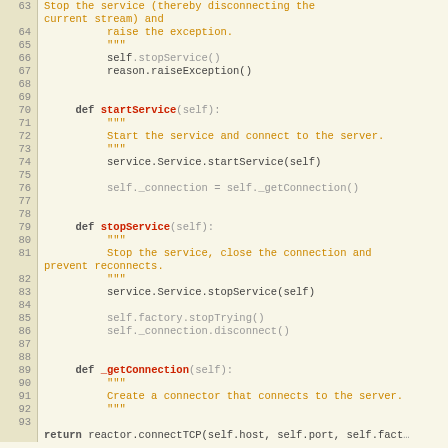[Figure (screenshot): Python source code viewer showing lines 63-93 with syntax highlighting. Line numbers in beige/tan left column. Keywords in bold, function names in red, docstrings in orange/brown, normal code in dark gray on cream background.]